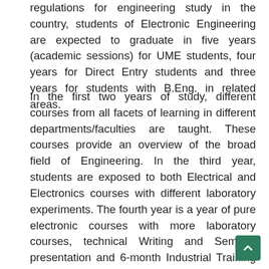regulations for engineering study in the country, students of Electronic Engineering are expected to graduate in five years (academic sessions) for UME students, four years for Direct Entry students and three years for students with B.Eng. in related areas.
In the first two years of study, different courses from all facets of learning in different departments/faculties are taught. These courses provide an overview of the broad field of Engineering. In the third year, students are exposed to both Electrical and Electronics courses with different laboratory experiments. The fourth year is a year of pure electronic courses with more laboratory courses, technical Writing and Seminar presentation and 6-month Industrial Training (IT) organized by the Student Industrial Works Experience Scheme (SIWES) in relevant industries. In the final year, students in addition to taking other final year courses must undertake and complete a bachelor of engineering final year project selected from any area of electronic engineering and with significant practical content.